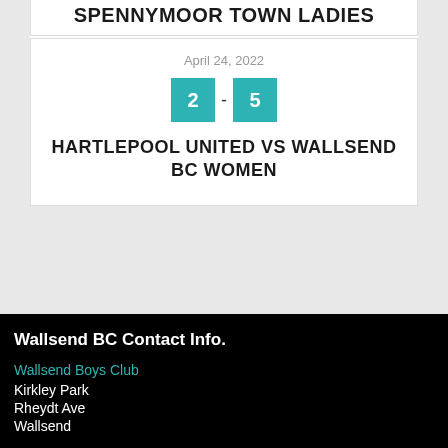SPENNYMOOR TOWN LADIES
April 24, 2022
2 - 5
HARTLEPOOL UNITED VS WALLSEND BC WOMEN
Wallsend BC Contact Info.
Wallsend Boys Club
Kirkley Park
Rheydt Ave
Wallsend